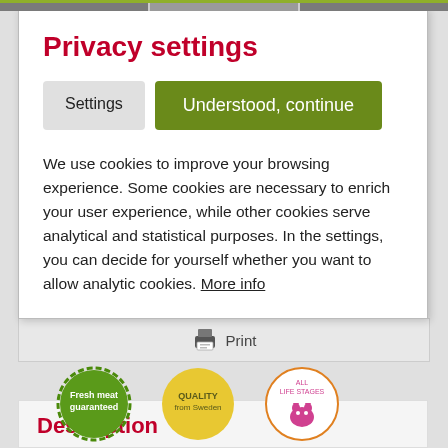Privacy settings
Settings
Understood, continue
We use cookies to improve your browsing experience. Some cookies are necessary to enrich your user experience, while other cookies serve analytical and statistical purposes. In the settings, you can decide for yourself whether you want to allow analytic cookies. More info
[Figure (screenshot): Print icon and print label in a gray bar]
[Figure (logo): Three circular badges: Fresh meat guaranteed (green), Quality from Sweden (yellow), All life stages (orange/pink with cat illustration)]
Description